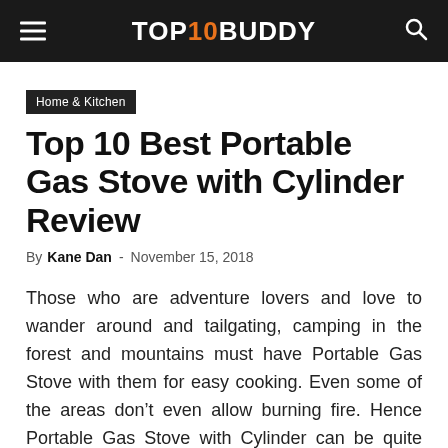TOP10BUDDY
Home & Kitchen
Top 10 Best Portable Gas Stove with Cylinder Review
By Kane Dan - November 15, 2018
Those who are adventure lovers and love to wander around and tailgating, camping in the forest and mountains must have Portable Gas Stove with them for easy cooking. Even some of the areas don't even allow burning fire. Hence Portable Gas Stove with Cylinder can be quite beneficial for Picnicking, Camping, Backpacking or wherever your journey takes